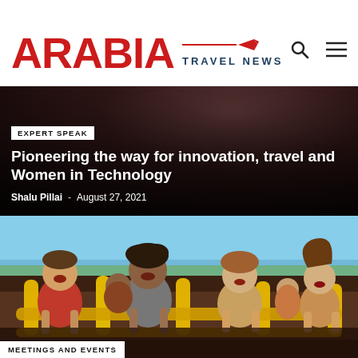ARABIA TRAVEL NEWS
EXPERT SPEAK
Pioneering the way for innovation, travel and Women in Technology
Shalu Pillai - August 27, 2021
[Figure (photo): People riding a roller coaster, laughing and holding yellow handles, with a cityscape visible in the background]
MEETINGS AND EVENTS